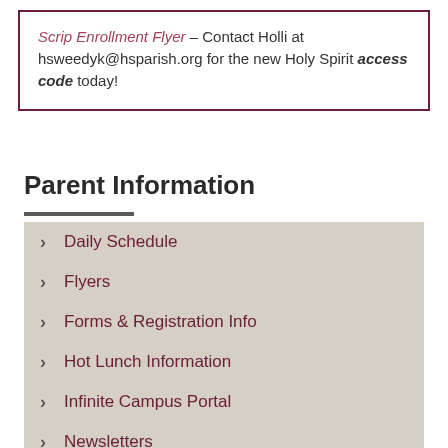Scrip Enrollment Flyer – Contact Holli at hsweedyk@hsparish.org for the new Holy Spirit access code today!
Parent Information
Daily Schedule
Flyers
Forms & Registration Info
Hot Lunch Information
Infinite Campus Portal
Newsletters
Parent Ambassadors